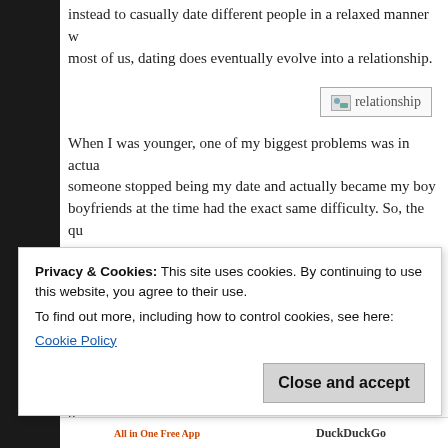instead to casually date different people in a relaxed manner w... most of us, dating does eventually evolve into a relationship.
[Figure (illustration): Broken image placeholder with label 'relationship']
When I was younger, one of my biggest problems was in actu... someone stopped being my date and actually became my boy... boyfriends at the time had the exact same difficulty. So, the qu... become certain that the other person considers us their partne...
When the other person refers to you as their girlfriend/boyfr...
Simply wait for the other person you're going out with to intr... Thing is, what if the other person in the couple is also waiting... Would that mean that both of you would wait forever? Better n...
Privacy & Cookies: This site uses cookies. By continuing to use this website, you agree to their use.
To find out more, including how to control cookies, see here:
Cookie Policy
Close and accept